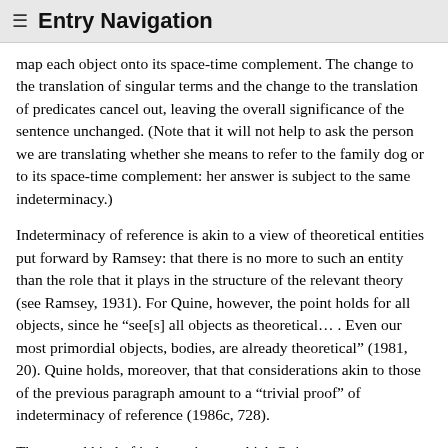≡  Entry Navigation
map each object onto its space-time complement. The change to the translation of singular terms and the change to the translation of predicates cancel out, leaving the overall significance of the sentence unchanged. (Note that it will not help to ask the person we are translating whether she means to refer to the family dog or to its space-time complement: her answer is subject to the same indeterminacy.)
Indeterminacy of reference is akin to a view of theoretical entities put forward by Ramsey: that there is no more to such an entity than the role that it plays in the structure of the relevant theory (see Ramsey, 1931). For Quine, however, the point holds for all objects, since he “see[s] all objects as theoretical… . Even our most primordial objects, bodies, are already theoretical” (1981, 20). Quine holds, moreover, that that considerations akin to those of the previous paragraph amount to a “trivial proof” of indeterminacy of reference (1986c, 728).
The second kind of indeterminacy, which Quine